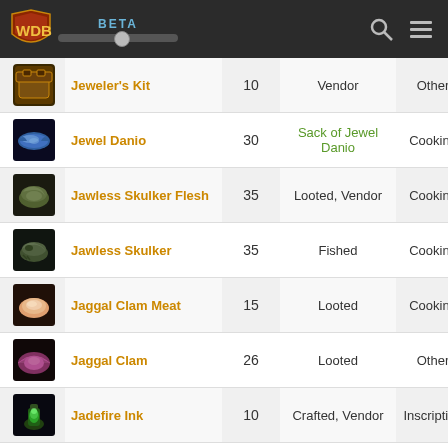WOWDB BETA
| Icon | Name | Amount | Source | Category |
| --- | --- | --- | --- | --- |
| [img] | Jeweler's Kit | 10 | Vendor | Other |
| [img] | Jewel Danio | 30 | Sack of Jewel Danio | Cooking |
| [img] | Jawless Skulker Flesh | 35 | Looted, Vendor | Cooking |
| [img] | Jawless Skulker | 35 | Fished | Cooking |
| [img] | Jaggal Clam Meat | 15 | Looted | Cooking |
| [img] | Jaggal Clam | 26 | Looted | Other |
| [img] | Jadefire Ink | 10 | Crafted, Vendor | Inscription |
| [img] | Jade Squash | 30 | Looted | Cooking |